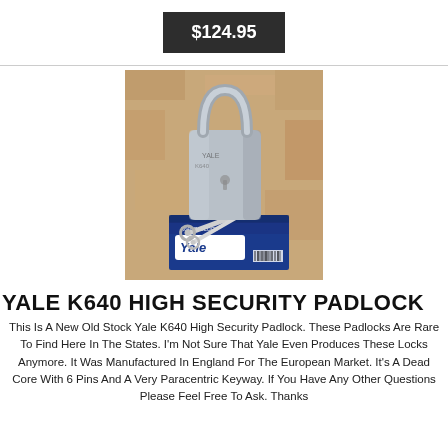$124.95
[Figure (photo): Photo of a Yale K640 high security padlock sitting on top of its blue Yale-branded box, with two keys laid in front, photographed on a wooden surface.]
YALE K640 HIGH SECURITY PADLOCK
This Is A New Old Stock Yale K640 High Security Padlock. These Padlocks Are Rare To Find Here In The States. I'm Not Sure That Yale Even Produces These Locks Anymore. It Was Manufactured In England For The European Market. It's A Dead Core With 6 Pins And A Very Paracentric Keyway. If You Have Any Other Questions Please Feel Free To Ask. Thanks